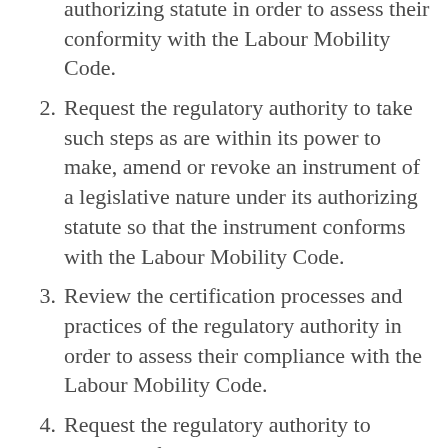authorizing statute in order to assess their conformity with the Labour Mobility Code.
2. Request the regulatory authority to take such steps as are within its power to make, amend or revoke an instrument of a legislative nature under its authorizing statute so that the instrument conforms with the Labour Mobility Code.
3. Review the certification processes and practices of the regulatory authority in order to assess their compliance with the Labour Mobility Code.
4. Request the regulatory authority to provide information and reports with respect to any matter relating to compliance with the